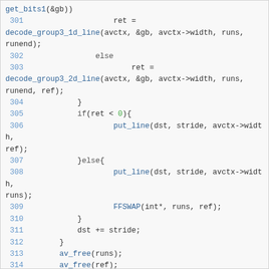[Figure (screenshot): Source code snippet showing C code lines 301-316 with syntax highlighting. Functions in blue, keywords in gray, numbers in green, line numbers in blue.]